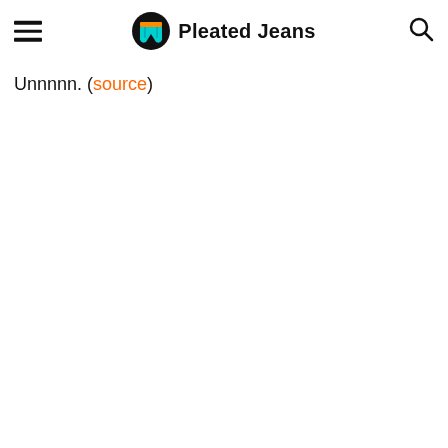Pleated Jeans
Unnnnn. (source)